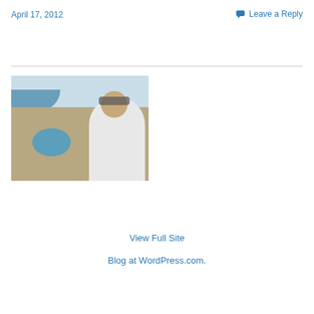April 17, 2012
Leave a Reply
[Figure (photo): Person taking a selfie on a rocky coastal cliff overlooking a blue cove, with sea and hazy coastline in the background.]
View Full Site
Blog at WordPress.com.